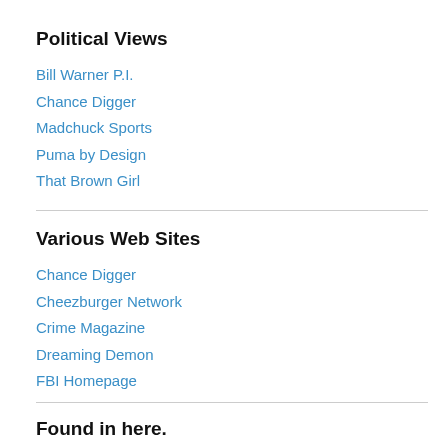Political Views
Bill Warner P.I.
Chance Digger
Madchuck Sports
Puma by Design
That Brown Girl
Various Web Sites
Chance Digger
Cheezburger Network
Crime Magazine
Dreaming Demon
FBI Homepage
Found in here.